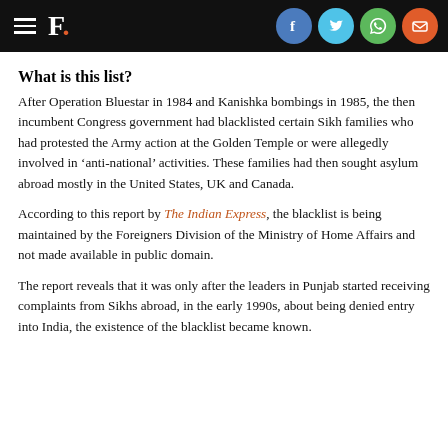F. [The Quint logo with hamburger menu and social sharing icons for Facebook, Twitter, WhatsApp, Email]
What is this list?
After Operation Bluestar in 1984 and Kanishka bombings in 1985, the then incumbent Congress government had blacklisted certain Sikh families who had protested the Army action at the Golden Temple or were allegedly involved in ‘anti-national’ activities. These families had then sought asylum abroad mostly in the United States, UK and Canada.
According to this report by The Indian Express, the blacklist is being maintained by the Foreigners Division of the Ministry of Home Affairs and not made available in public domain.
The report reveals that it was only after the leaders in Punjab started receiving complaints from Sikhs abroad, in the early 1990s, about being denied entry into India, the existence of the blacklist became known.